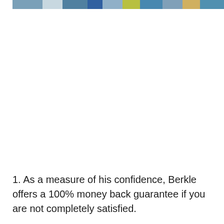[Figure (photo): A partial view of a photo strip at the top of the page, showing colorful but mostly cropped imagery with blues and various colors]
1. As a measure of his confidence, Berkle offers a 100% money back guarantee if you are not completely satisfied.